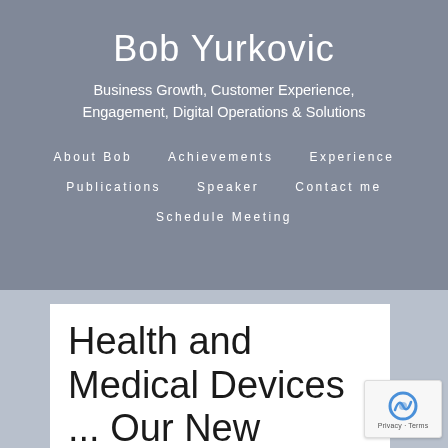Bob Yurkovic
Business Growth, Customer Experience, Engagement, Digital Operations & Solutions
About Bob   Achievements   Experience
Publications   Speaker   Contact me
Schedule Meeting
Health and Medical Devices ... Our New